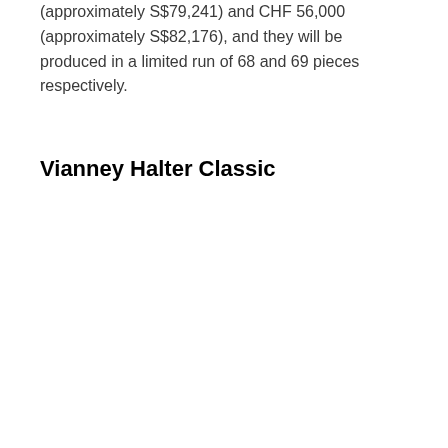(approximately S$79,241) and CHF 56,000 (approximately S$82,176), and they will be produced in a limited run of 68 and 69 pieces respectively.
Vianney Halter Classic